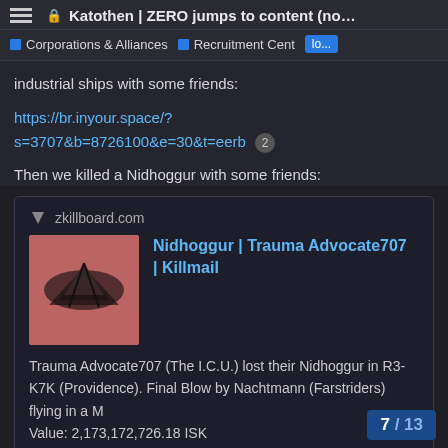Katothen | ZERO jumps to content (nomadic ...
Corporations & Alliances   Recruitment Centre   lo...
industrial ships with some friends:
https://br.inyour.space/?s=3707&b=8726100&e=30&t=eerb  2
Then we killed a Nidhoggur with some friends:
zkillboard.com
[Figure (screenshot): Embedded zkillboard card showing a Nidhoggur ship image (dark reddish-brown spacecraft on pink/red background)]
Nidhoggur | Trauma Advocate707 | Killmail
Trauma Advocate707 (The I.C.U.) lost their Nidhoggur in R3-K7K (Providence). Final Blow by Nachtmann (Farstriders) flying in a M Value: 2,173,172,726.18 ISK
7 / 13